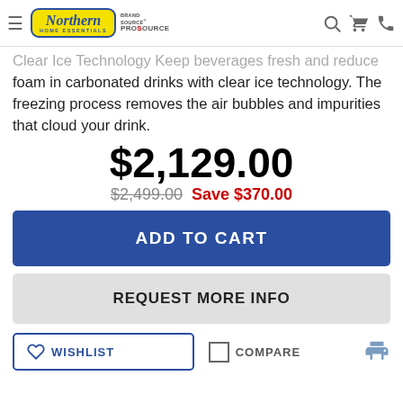Northern Home Essentials — BrandSource ProSource
Clear Ice Technology Keep beverages fresh and reduce foam in carbonated drinks with clear ice technology. The freezing process removes the air bubbles and impurities that cloud your drink.
$2,129.00
$2,499.00  Save $370.00
ADD TO CART
REQUEST MORE INFO
WISHLIST   COMPARE